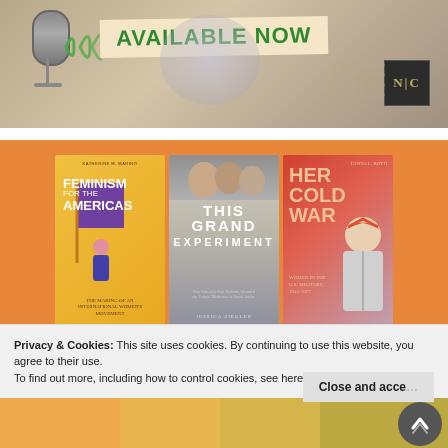[Figure (illustration): Podcast/audio banner with microphone, sound waves, 'AVAILABLE NOW' text on tan/beige background, and NC logo box in corner]
[Figure (illustration): Three book covers displayed on orange background: 'Feminism for the Americas' (yellow/orange cover), 'This Grand Experiment' (gray cover), and 'Her Cold War' (red/pink cover with illustrated woman)]
Privacy & Cookies: This site uses cookies. By continuing to use this website, you agree to their use. To find out more, including how to control cookies, see here: Cookie Policy
[Figure (illustration): Bottom colorful strip, partial view of another image with warm/green tones]